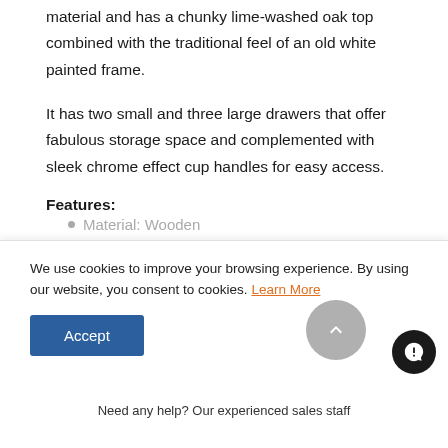material and has a chunky lime-washed oak top combined with the traditional feel of an old white painted frame.
It has two small and three large drawers that offer fabulous storage space and complemented with sleek chrome effect cup handles for easy access.
Features:
Material: Wooden
See More
We use cookies to improve your browsing experience. By using our website, you consent to cookies. Learn More
Need any help? Our experienced sales staff